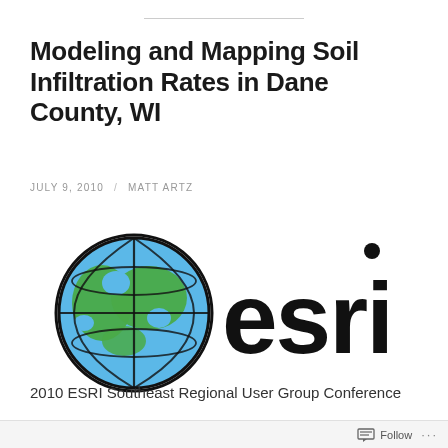Modeling and Mapping Soil Infiltration Rates in Dane County, WI
JULY 9, 2010 / MATT ARTZ
[Figure (logo): ESRI logo: globe icon on left with colorful sphere and grid lines, followed by lowercase 'esri' text in large bold black font]
2010 ESRI Southeast Regional User Group Conference
Follow ...